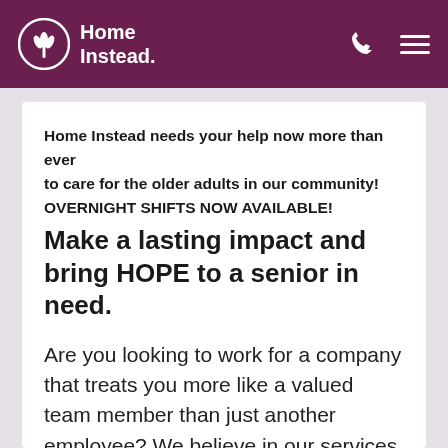Home Instead
Home Instead needs your help now more than ever to care for the older adults in our community! OVERNIGHT SHIFTS NOW AVAILABLE!
Make a lasting impact and bring HOPE to a senior in need.
Are you looking to work for a company that treats you more like a valued team member than just another employee? We believe in our services, and we